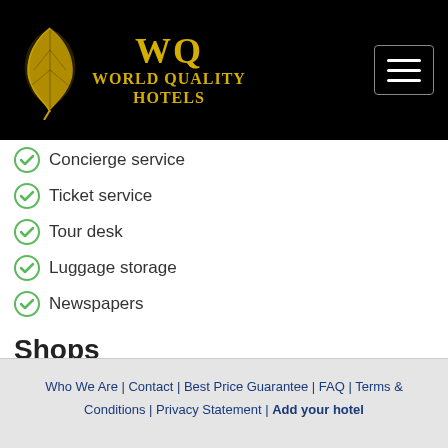[Figure (logo): World Quality Hotels logo with golden leaf icon and WQ text on black background, with hamburger menu button]
Concierge service
Ticket service
Tour desk
Luggage storage
Newspapers
Shops
Shops (on site)
Mini-market on site
Barber/beauty shop
Gift shop
Who We Are | Contact | Best Price Guarantee | FAQ | Terms & Conditions | Privacy Statement | Add your hotel